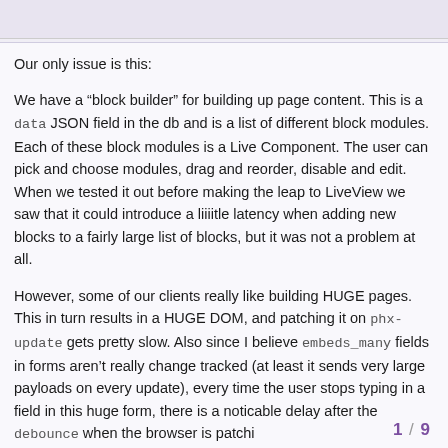Our only issue is this:
We have a “block builder” for building up page content. This is a data JSON field in the db and is a list of different block modules. Each of these block modules is a Live Component. The user can pick and choose modules, drag and reorder, disable and edit. When we tested it out before making the leap to LiveView we saw that it could introduce a liiiitle latency when adding new blocks to a fairly large list of blocks, but it was not a problem at all.
However, some of our clients really like building HUGE pages. This in turn results in a HUGE DOM, and patching it on phx-update gets pretty slow. Also since I believe embeds_many fields in forms aren’t really change tracked (at least it sends very large payloads on every update), every time the user stops typing in a field in this huge form, there is a noticable delay after the debounce when the browser is patchi
1 / 9